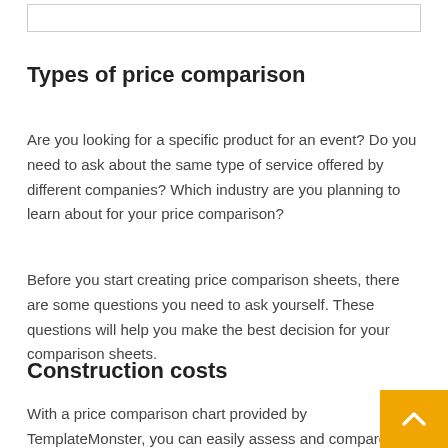Types of price comparison
Are you looking for a specific product for an event? Do you need to ask about the same type of service offered by different companies? Which industry are you planning to learn about for your price comparison?
Before you start creating price comparison sheets, there are some questions you need to ask yourself. These questions will help you make the best decision for your comparison sheets.
Construction costs
With a price comparison chart provided by TemplateMonster, you can easily assess and compare bids from various construction